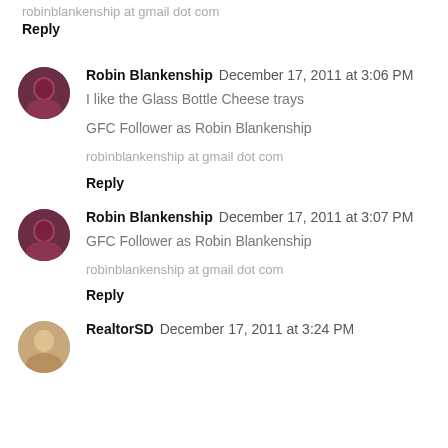robinblankenship at gmail dot com
Reply
Robin Blankenship  December 17, 2011 at 3:06 PM
I like the Glass Bottle Cheese trays
GFC Follower as Robin Blankenship
robinblankenship at gmail dot com
Reply
Robin Blankenship  December 17, 2011 at 3:07 PM
GFC Follower as Robin Blankenship
robinblankenship at gmail dot com
Reply
RealtorSD  December 17, 2011 at 3:24 PM